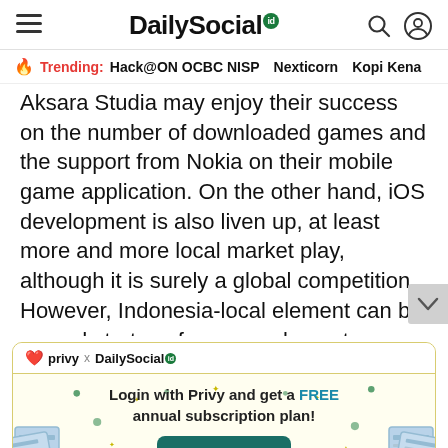DailySocial id
🔥 Trending: Hack@ON OCBC NISP   Nexticorn   Kopi Kena
Aksara Studia may enjoy their success on the number of downloaded games and the support from Nokia on their mobile game application. On the other hand, iOS development is also liven up, at least more and more local market play, although it is surely a global competition. However, Indonesia-local element can be a good strategy for game element
[Figure (infographic): Advertisement banner: Privy x DailySocial. Login with Privy and get a FREE annual subscription plan! Login Now button. Decorative newspaper illustrations on sides.]